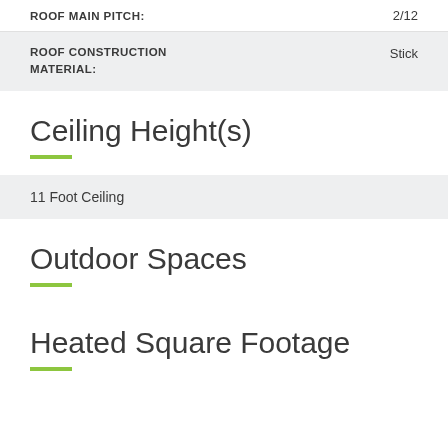| ROOF MAIN PITCH: | 2/12 |
| --- | --- |
| ROOF CONSTRUCTION MATERIAL: | Stick |
Ceiling Height(s)
| 11 Foot Ceiling |  |
Outdoor Spaces
Heated Square Footage